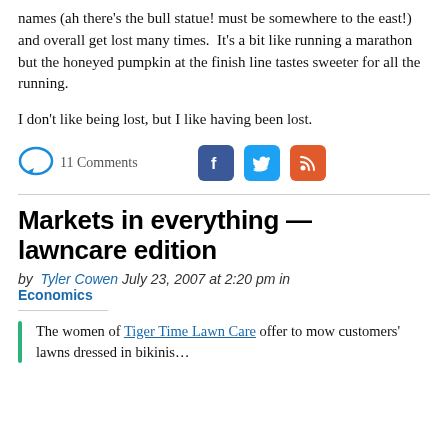names (ah there’s the bull statue! must be somewhere to the east!) and overall get lost many times. It’s a bit like running a marathon but the honeyed pumpkin at the finish line tastes sweeter for all the running.
I don’t like being lost, but I like having been lost.
11 Comments [social icons: Facebook, Twitter, RSS]
Markets in everything — lawncare edition
by Tyler Cowen July 23, 2007 at 2:20 pm in Economics
The women of Tiger Time Lawn Care offer to mow customers’ lawns dressed in bikinis…